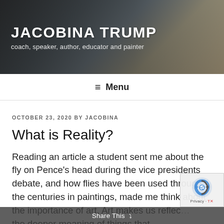[Figure (screenshot): Website header banner with dark overlay showing a person on a boat/yacht in the background]
JACOBINA TRUMP
coach, speaker, author, educator and painter
≡ Menu
OCTOBER 23, 2020 BY JACOBINA
What is Reality?
Reading an article a student sent me about the fly on Pence's head during the vice presidents debate, and how flies have been used through the centuries in paintings, made me think about the importance of art. Art makes us reflec the deeper meaning of things that
Share This ∨